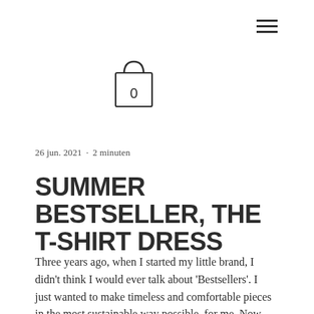[Figure (illustration): Hamburger menu icon — three horizontal lines stacked vertically, top-right area]
[Figure (illustration): Shopping bag icon with the number 0 inside, centered in the upper portion of the page]
26 jun. 2021  •  2 minuten
SUMMER BESTSELLER, THE T-SHIRT DRESS
Three years ago, when I started my little brand, I didn't think I would ever talk about 'Bestsellers'. I just wanted to make timeless and comfortable pieces in the most sustainable way possible, for me. Now I'm a little wiser and one